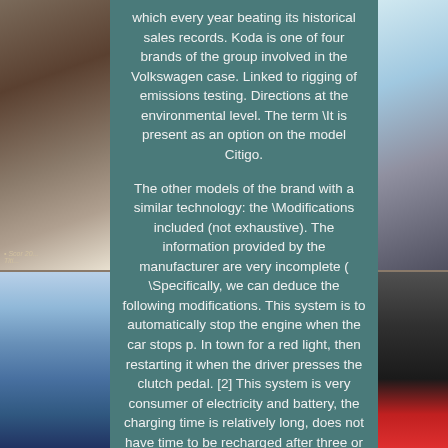[Figure (photo): Left side: two stacked nature/waterfall photographs with brown and blue tones]
which every year beating its historical sales records. Koda is one of four brands of the group involved in the Volkswagen case. Linked to rigging of emissions testing. Directions at the environmental level. The term \It is present as an option on the model Citigo.
The other models of the brand with a similar technology: the \Modifications included (not exhaustive). The information provided by the manufacturer are very incomplete ( \Specifically, we can deduce the following modifications. This system is to automatically stop the engine when the car stops p. In town for a red light, then restarting it when the driver presses the clutch pedal. [2] This system is very consumer of electricity and battery, the charging time is relatively long, does not have time to be recharged after three or four stops close together, the battery is flat. For this reason start-stop system is combined with a system of energy recovery during braking. When the vehicle brakes, kinetic energy is converted into electrical energy and stored in a supercapacitor, instead of being converted into heat in the brakes.
The energy stored in the supercapacitor will allow restarting after shutdown, which prevents battery drain too fast. The start-stop system would save 15% of fuel in town. On the road, this system can be assumed to provide a significant gain since the car does not stop. On the road,
[Figure (photo): Right side: two stacked nature photographs with blue/grey and red tones]